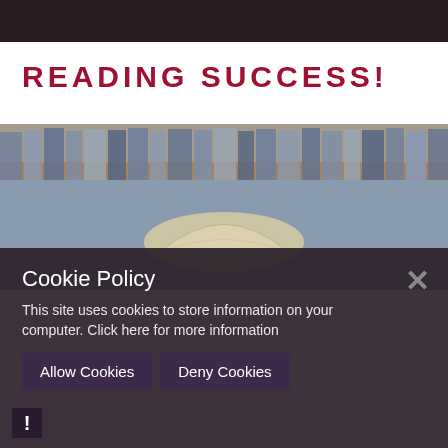READING SUCCESS!
[Figure (photo): Blurred bookshelf with books and an open book in focus in the foreground]
Cookie Policy
This site uses cookies to store information on your computer. Click here for more information
Allow Cookies   Deny Cookies